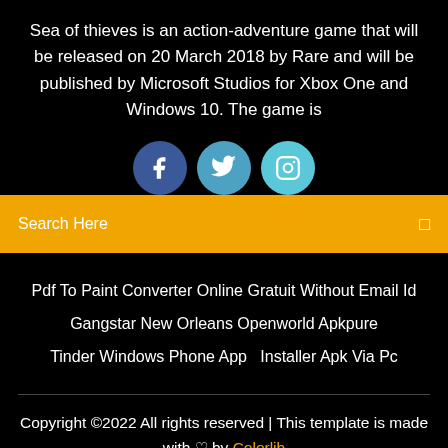Sea of thieves is an action-adventure game that will be released on 20 March 2018 by Rare and will be published by Microsoft Studios for Xbox One and Windows 10. The game is
[Figure (illustration): Three social media button circles: Facebook (dark blue), Twitter (medium blue), Instagram (light blue/cyan), each with white icons]
Search Here
Pdf To Paint Converter Online Gratuit Without Email Id
Gangstar New Orleans Openworld Apkpure
Tinder Windows Phone App   Installer Apk Via Pc
Copyright ©2022 All rights reserved | This template is made with ♡ by Colorlib